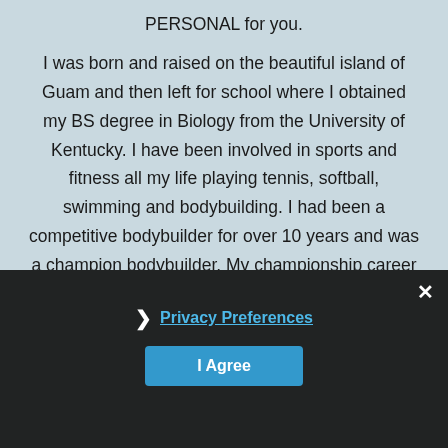PERSONAL for you.
I was born and raised on the beautiful island of Guam and then left for school where I obtained my BS degree in Biology from the University of Kentucky. I have been involved in sports and fitness all my life playing tennis, softball, swimming and bodybuilding. I had been a competitive bodybuilder for over 10 years and was a champion bodybuilder. My championship career includes the 2001 South Pacific Women's Bodybuilding Champion, 2003 South Pacific Games Women's Bodybuilding Champion and 2003 IFBB Women's World Amateur Lightweight Champion. I have been a personal trainer since 200... a Precision Nutrition (PN1)
Privacy Preferences
I Agree